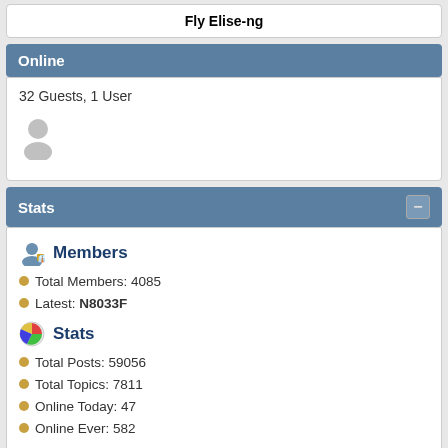Fly Elise-ng
Online
32 Guests, 1 User
Stats
Members
Total Members: 4085
Latest: N8033F
Stats
Total Posts: 59056
Total Topics: 7811
Online Today: 47
Online Ever: 582
(January 22, 2020, 08:44:01 AM)
Users Online
Users: 1
Guests: 32